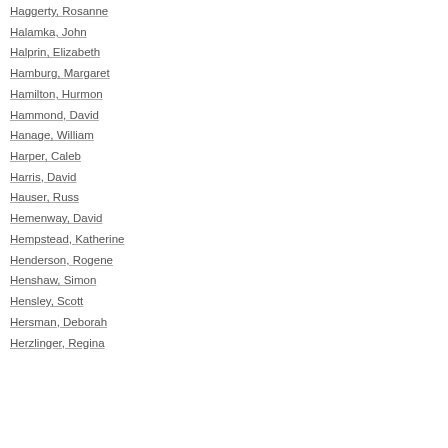Haggerty, Rosanne
Halamka, John
Halprin, Elizabeth
Hamburg, Margaret
Hamilton, Hurmon
Hammond, David
Hanage, William
Harper, Caleb
Harris, David
Hauser, Russ
Hemenway, David
Hempstead, Katherine
Henderson, Rogene
Henshaw, Simon
Hensley, Scott
Hersman, Deborah
Herzlinger, Regina